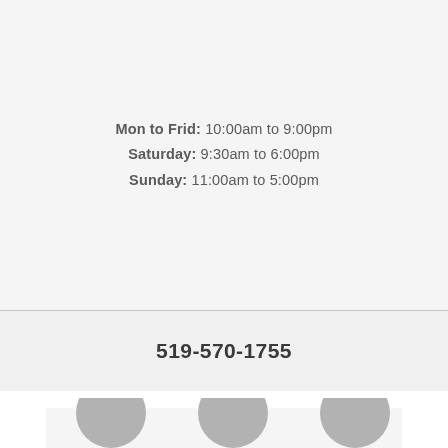Mon to Frid: 10:00am to 9:00pm
Saturday: 9:30am to 6:00pm
Sunday: 11:00am to 5:00pm
519-570-1755
[Figure (illustration): Partial view of circular social media or contact icons at the bottom of a card section]